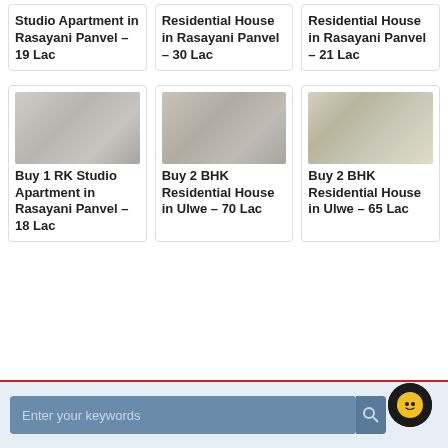Buy 1 RK Studio Apartment in Rasayani Panvel – 19 Lac
Buy 2 BHK Residential House in Rasayani Panvel – 30 Lac
Buy 2 BHK Residential House in Rasayani Panvel – 21 Lac
[Figure (photo): Interior kitchen photo of a residential apartment]
Buy 1 RK Studio Apartment in Rasayani Panvel – 18 Lac
[Figure (photo): Interior photo of a residential property showing columns]
Buy 2 BHK Residential House in Ulwe – 70 Lac
[Figure (photo): Interior kitchen photo of a residential house in Ulwe]
Buy 2 BHK Residential House in Ulwe – 65 Lac
Enter your keywords